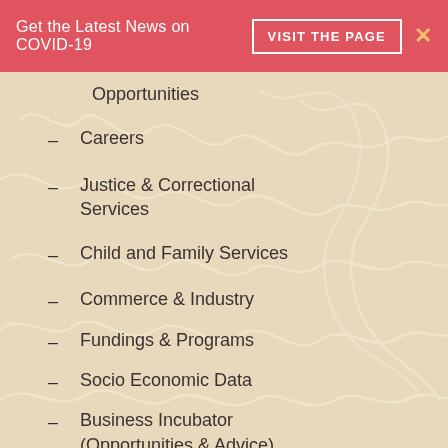Get the Latest News on COVID-19  VISIT THE PAGE  ×
Opportunities
Careers
Justice & Correctional Services
Child and Family Services
Commerce & Industry
Fundings & Programs
Socio Economic Data
Business Incubator (Opportunities & Advice)
Trade & Commerce Agreements